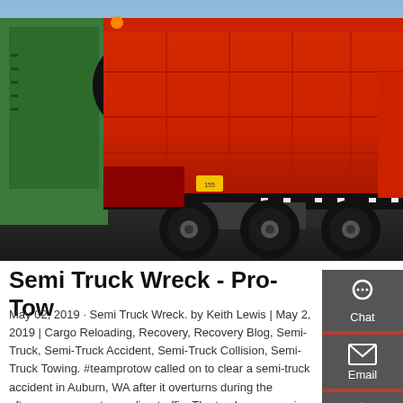[Figure (photo): Red dump truck / semi truck parked outdoors, side view showing large red cargo bed and multiple rear axles with large tires. Green vehicle visible on the left side.]
Semi Truck Wreck - Pro-Tow
May 02, 2019 · Semi Truck Wreck. by Keith Lewis | May 2, 2019 | Cargo Reloading, Recovery, Recovery Blog, Semi-Truck, Semi-Truck Accident, Semi-Truck Collision, Semi-Truck Towing. #teamprotow called on to clear a semi-truck accident in Auburn, WA after it overturns during the afternoon commute snarling traffic. The truck was carrying a full load of steel and